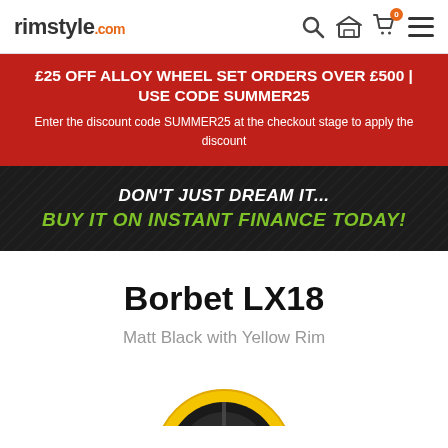rimstyle.com
£25 OFF ALLOY WHEEL SET ORDERS OVER £500 | USE CODE SUMMER25
Enter the discount code SUMMER25 at the checkout stage to apply the discount
DON'T JUST DREAM IT... BUY IT ON INSTANT FINANCE TODAY!
Borbet LX18
Matt Black with Yellow Rim
[Figure (illustration): Partial view of a Borbet LX18 alloy wheel in Matt Black with Yellow Rim colour]